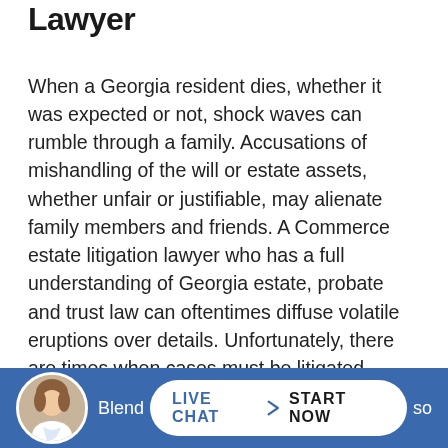Lawyer
When a Georgia resident dies, whether it was expected or not, shock waves can rumble through a family. Accusations of mishandling of the will or estate assets, whether unfair or justifiable, may alienate family members and friends. A Commerce estate litigation lawyer who has a full understanding of Georgia estate, probate and trust law can oftentimes diffuse volatile eruptions over details. Unfortunately, there are times when cases must be litigated, whether it is a disagreement over guardianship, evasive accounting or breach of fiduciary duties.
Blend... mil... so
[Figure (screenshot): Live chat widget with a woman avatar, showing LIVE CHAT > START NOW button on a blue background bar]